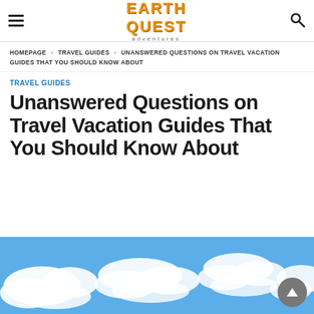EARTH QUEST adventures
HOMEPAGE › TRAVEL GUIDES › UNANSWERED QUESTIONS ON TRAVEL VACATION GUIDES THAT YOU SHOULD KNOW ABOUT
TRAVEL GUIDES
Unanswered Questions on Travel Vacation Guides That You Should Know About
[Figure (photo): Blue sky with white clouds, partial view at the bottom of the page]